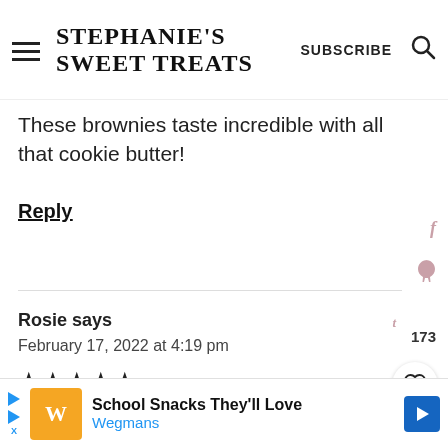STEPHANIE'S SWEET TREATS | SUBSCRIBE
These brownies taste incredible with all that cookie butter!
Reply
Rosie says
February 17, 2022 at 4:19 pm
★★★★★
I made this recipe yesterday, and
[Figure (screenshot): Ad banner: School Snacks They'll Love - Wegmans]